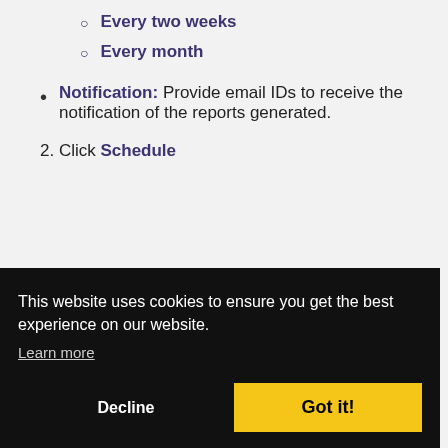Every two weeks
Every month
Notification: Provide email IDs to receive the notification of the reports generated.
2. Click Schedule
This website uses cookies to ensure you get the best experience on our website.
Learn more
Decline
Got it!
privileges. If you can't grant HDFS